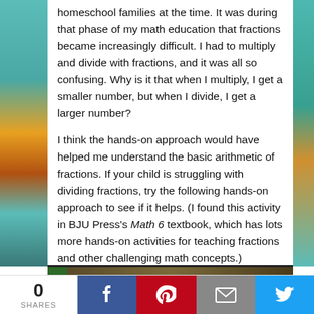homeschool families at the time. It was during that phase of my math education that fractions became increasingly difficult. I had to multiply and divide with fractions, and it was all so confusing. Why is it that when I multiply, I get a smaller number, but when I divide, I get a larger number?
I think the hands-on approach would have helped me understand the basic arithmetic of fractions. If your child is struggling with dividing fractions, try the following hands-on approach to see if it helps. (I found this activity in BJU Press's Math 6 textbook, which has lots more hands-on activities for teaching fractions and other challenging math concepts.)
[Figure (photo): Partial view of a photo at the bottom of the content area, showing a dark bar (book spines or table surface)]
0 SHARES | Facebook | Pinterest | Email | Twitter